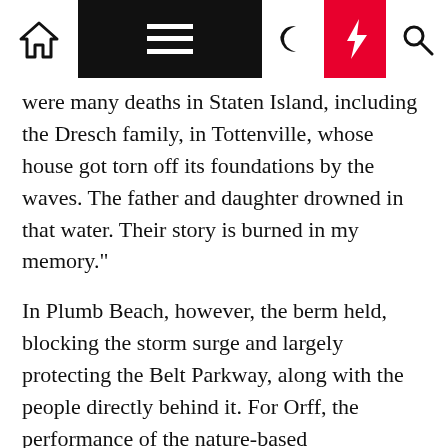[Navigation bar with home icon, menu, moon, bolt/lightning, and search icons]
were many deaths in Staten Island, including the Dresch family, in Tottenville, whose house got torn off its foundations by the waves. The father and daughter drowned in that water. Their story is burned in my memory."
In Plumb Beach, however, the berm held, blocking the storm surge and largely protecting the Belt Parkway, along with the people directly behind it. For Orff, the performance of the nature-based infrastructure during Sandy was revelatory. It suggested that a scaled-up version of Oyster-Tecture could be immediately useful—not for provoking discussion but for preserving communities along the coast.
In Tottenville, Staten Island, drainage pipes, once buried, have been unearthed